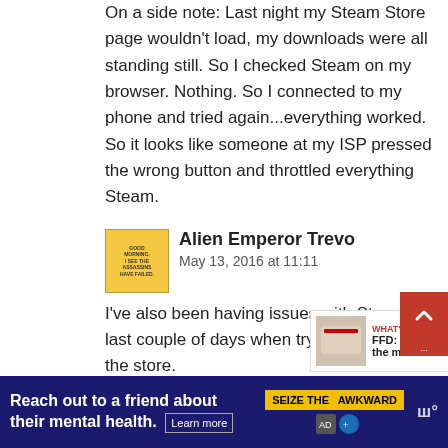On a side note: Last night my Steam Store page wouldn't load, my downloads were all standing still. So I checked Steam on my browser. Nothing. So I connected to my phone and tried again...everything worked. So it looks like someone at my ISP pressed the wrong button and throttled everything Steam.
[Figure (photo): User avatar: a yellow sticky note with handwritten text reading 'GOOD MORNING, I SEE THE ASSASSINS HAVE FAILED.']
Alien Emperor Trevor
May 13, 2016 at 11:11
I've also been having issues with Steam the last couple of days when trying to access the store.
[Figure (infographic): WHAT'S NEXT arrow widget with thumbnail and text 'FFD: What's the most...']
Captain Ubound
[Figure (infographic): Ad banner: 'Reach out to a friend about their mental health. Learn more' with SEIZE THE AWKWARD badge]